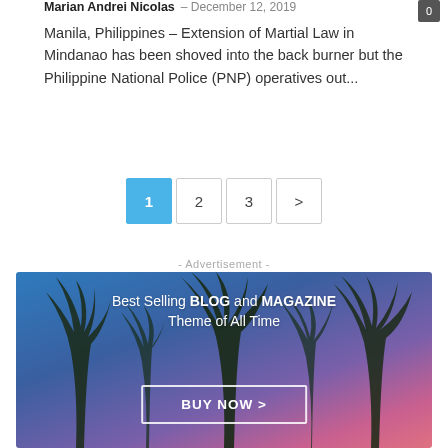Marian Andrei Nicolas — December 12, 2019
Manila, Philippines – Extension of Martial Law in Mindanao has been shoved into the back burner but the Philippine National Police (PNP) operatives out...
Pagination: 1 (active), 2, 3, >
- Advertisement -
[Figure (illustration): Advertisement banner with palm trees silhouette against a blue-to-pink gradient sky. Text reads: Best Selling BLOG and MAGAZINE Theme of All Time. Button: BUY NOW >]